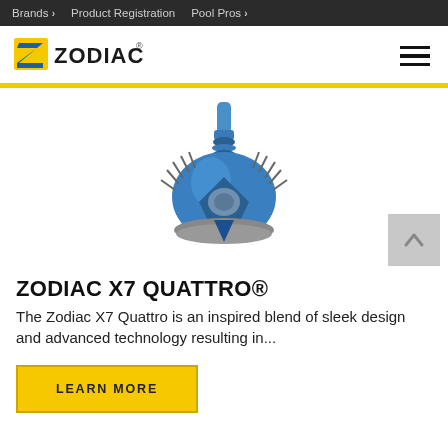Brands > Product Registration Pool Pros >
[Figure (logo): Zodiac brand logo with yellow and blue Z emblem and ZODIAC text]
[Figure (photo): Zodiac X7 Quattro pool cleaner product photo on white background — blue robotic pool vacuum cleaner with spike-like bristles]
ZODIAC X7 QUATTRO®
The Zodiac X7 Quattro is an inspired blend of sleek design and advanced technology resulting in...
LEARN MORE